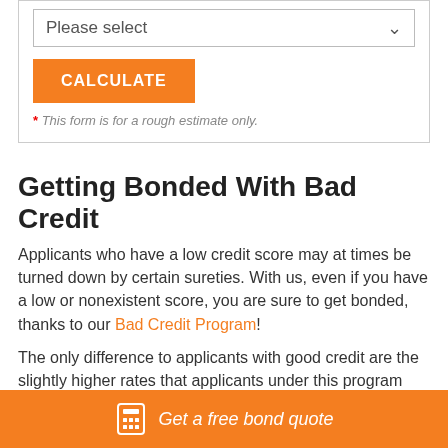[Figure (screenshot): A form dropdown selector with placeholder text 'Please select' and a chevron arrow, above an orange CALCULATE button, with a disclaimer text below]
Getting Bonded With Bad Credit
Applicants who have a low credit score may at times be turned down by certain sureties. With us, even if you have a low or nonexistent score, you are sure to get bonded, thanks to our Bad Credit Program!
The only difference to applicants with good credit are the slightly higher rates that applicants under this program pay to get bonded. Yet, you can improve your bond rate significantly by improving your credit score over time, and pay increasingly lower costs for your bonds.
Get a free bond quote